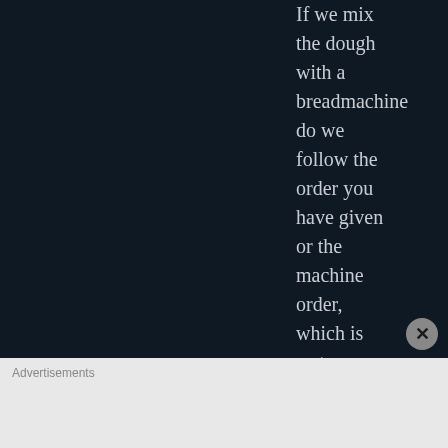If we mix the dough with a breadmachine do we follow the order you have given or the machine order, which is wet ingredients first then dry?
★ Like
OLADYBAKES says: ← Reply
September 1, 2020 at 7:20 pm
Either way is fine.
★ Like
Advertisements